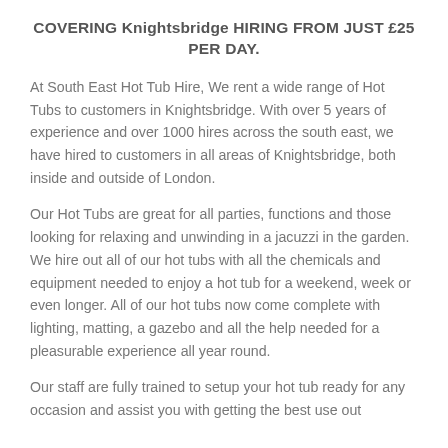COVERING Knightsbridge HIRING FROM JUST £25 PER DAY.
At South East Hot Tub Hire, We rent a wide range of Hot Tubs to customers in Knightsbridge. With over 5 years of experience and over 1000 hires across the south east, we have hired to customers in all areas of Knightsbridge, both inside and outside of London.
Our Hot Tubs are great for all parties, functions and those looking for relaxing and unwinding in a jacuzzi in the garden. We hire out all of our hot tubs with all the chemicals and equipment needed to enjoy a hot tub for a weekend, week or even longer. All of our hot tubs now come complete with lighting, matting, a gazebo and all the help needed for a pleasurable experience all year round.
Our staff are fully trained to setup your hot tub ready for any occasion and assist you with getting the best use out